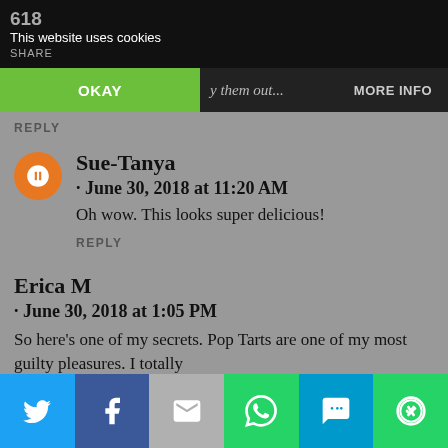618 This website uses cookies SHARE
OKAY | them out... MORE INFO
REPLY
Sue-Tanya · June 30, 2018 at 11:20 AM
Oh wow. This looks super delicious!
REPLY
Erica M · June 30, 2018 at 1:05 PM
So here's one of my secrets. Pop Tarts are one of my most guilty pleasures. I totally
Twitter | Facebook | Email | WhatsApp | SMS | More